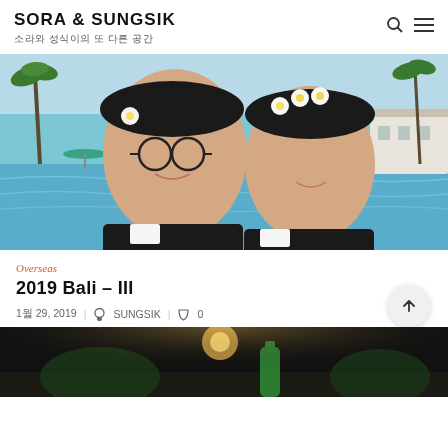SORA & SUNGSIK
소라와 성식이의 또 다른 공간
[Figure (photo): Couple selfie photo at a tropical resort pool. A man with glasses and white flower in hair and a woman with flower crown, both wearing black and white rash guards, smiling. Palm trees and resort pool visible in background.]
Overseas
2019 Bali – III
1월 29, 2019  |  SUNGSIK  |  0
[Figure (photo): Partial photo of an outdoor dinner or bar scene at night with green bottle and warm lighting visible.]